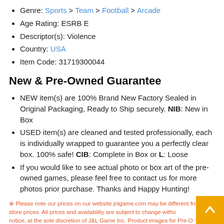Genre: Sports > Team > Football > Arcade
Age Rating: ESRB E
Descriptor(s): Violence
Country: USA
Item Code: 31719300044
New & Pre-Owned Guarantee
NEW item(s) are 100% Brand New Factory Sealed in Original Packaging, Ready to Ship securely. NIB: New in Box
USED item(s) are cleaned and tested professionally, each is individually wrapped to guarantee you a perfectly clear box. 100% safe! CIB: Complete in Box or L: Loose
If you would like to see actual photo or box art of the pre-owned games, please feel free to contact us for more photos prior purchase. Thanks and Happy Hunting!
※ Please note our prices on our website jnlgame.com may be different from our store prices. All prices and availability are subject to change without notice, at the sole discretion of J&L Game Inc. Product images for Pre-Owned and NEW Video Games, Consoles, and Accessories are stock photos a